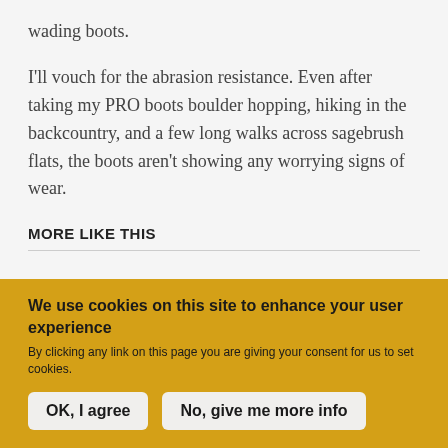wading boots.
I'll vouch for the abrasion resistance. Even after taking my PRO boots boulder hopping, hiking in the backcountry, and a few long walks across sagebrush flats, the boots aren't showing any worrying signs of wear.
MORE LIKE THIS
We use cookies on this site to enhance your user experience
By clicking any link on this page you are giving your consent for us to set cookies.
OK, I agree
No, give me more info